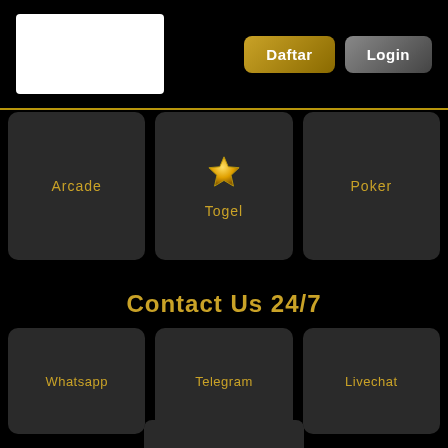[Figure (logo): White logo box in header]
Daftar
Login
Arcade
[Figure (illustration): Gold star icon for Togel]
Togel
Poker
Contact Us 24/7
Whatsapp
Telegram
Livechat
Metode Pembayaran